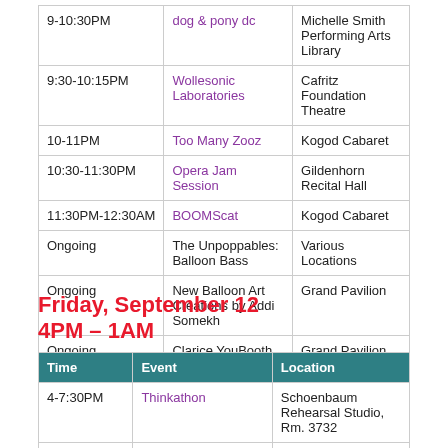| Time | Event | Location |
| --- | --- | --- |
| 9-10:30PM | dog & pony dc | Michelle Smith Performing Arts Library |
| 9:30-10:15PM | Wollesonic Laboratories | Cafritz Foundation Theatre |
| 10-11PM | Too Many Zooz | Kogod Cabaret |
| 10:30-11:30PM | Opera Jam Session | Gildenhorn Recital Hall |
| 11:30PM-12:30AM | BOOMScat | Kogod Cabaret |
| Ongoing | The Unpoppables: Balloon Bass | Various Locations |
| Ongoing | New Balloon Art Creations by Addi Somekh | Grand Pavilion |
| Ongoing | Clarice YouBooth | Grand Pavilion |
Friday, September 12
4PM – 1AM
| Time | Event | Location |
| --- | --- | --- |
| 4-7:30PM | Thinkathon | Schoenbaum Rehearsal Studio, Rm. 3732 |
| 4:30- | Nichole Canuso Dance |  |